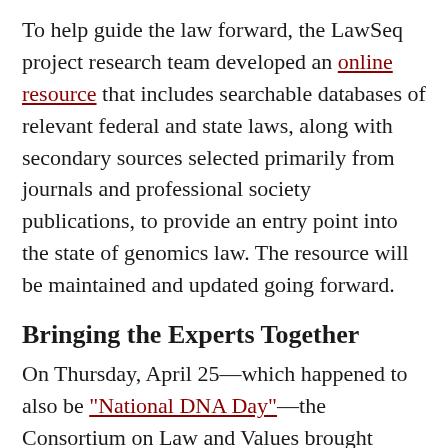To help guide the law forward, the LawSeq project research team developed an online resource that includes searchable databases of relevant federal and state laws, along with secondary sources selected primarily from journals and professional society publications, to provide an entry point into the state of genomics law. The resource will be maintained and updated going forward.
Bringing the Experts Together
On Thursday, April 25—which happened to also be "National DNA Day"—the Consortium on Law and Values brought together top legal and scientific experts from across the country to grapple with gaps and areas of confusion in genomic law.
At the LawSeq Conference, the researchers, scientists, attorneys, bioethicists, and health care providers who